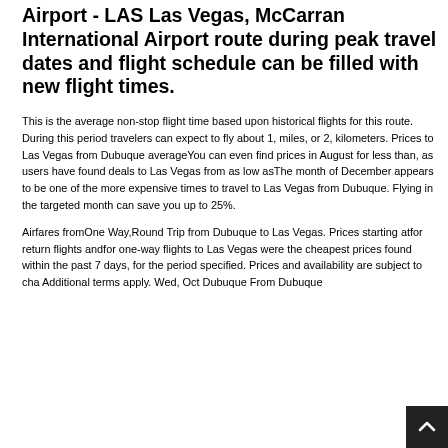Airport - LAS Las Vegas, McCarran International Airport route during peak travel dates and flight schedule can be filled with new flight times.
This is the average non-stop flight time based upon historical flights for this route. During this period travelers can expect to fly about 1, miles, or 2, kilometers. Prices to Las Vegas from Dubuque averageYou can even find prices in August for less than, as users have found deals to Las Vegas from as low asThe month of December appears to be one of the more expensive times to travel to Las Vegas from Dubuque. Flying in the targeted month can save you up to 25%.
Airfares fromOne Way,Round Trip from Dubuque to Las Vegas. Prices starting atfor return flights andfor one-way flights to Las Vegas were the cheapest prices found within the past 7 days, for the period specified. Prices and availability are subject to cha Additional terms apply. Wed, Oct Dubuque From Dubuque